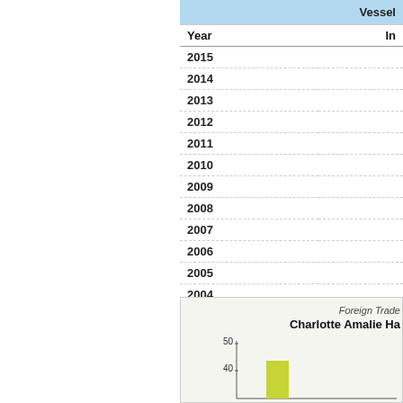| Year | In... |
| --- | --- |
| 2015 |  |
| 2014 |  |
| 2013 |  |
| 2012 |  |
| 2011 |  |
| 2010 |  |
| 2009 |  |
| 2008 |  |
| 2007 |  |
| 2006 |  |
| 2005 |  |
| 2004 |  |
| 2003 |  |
[Figure (bar-chart): Foreign Trade / Charlotte Amalie Ha...]